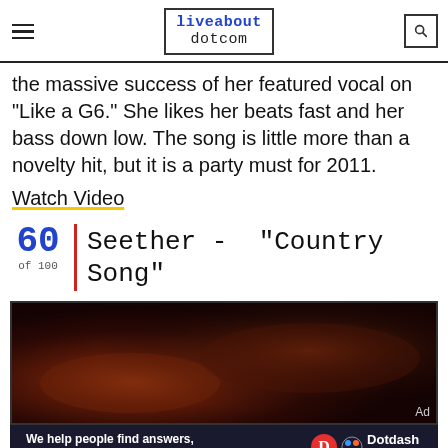liveabout dotcom
the massive success of her featured vocal on "Like a G6." She likes her beats fast and her bass down low. The song is little more than a novelty hit, but it is a party must for 2011.
Watch Video
60 of 100 | Seether - "Country Song"
[Figure (photo): Dark moody image, likely a music video still with deep red and brown tones]
We help people find answers, solve problems and get inspired. Dotdash meredith